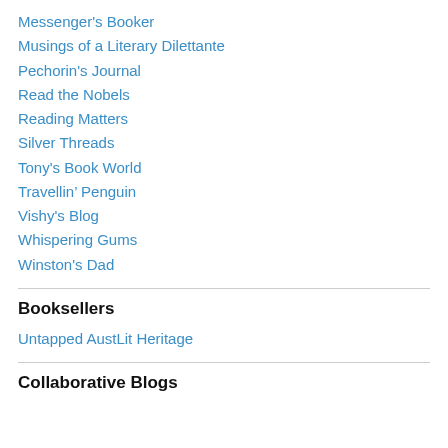Messenger's Booker
Musings of a Literary Dilettante
Pechorin's Journal
Read the Nobels
Reading Matters
Silver Threads
Tony's Book World
Travellin’ Penguin
Vishy's Blog
Whispering Gums
Winston's Dad
Booksellers
Untapped AustLit Heritage
Collaborative Blogs